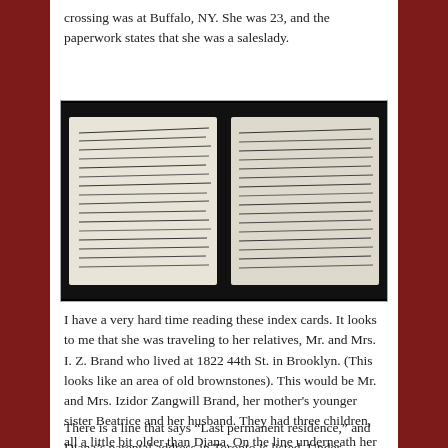crossing was at Buffalo, NY. She was 23, and the paperwork states that she was a saleslady.
[Figure (photo): Black and white scan of two handwritten index cards side by side, with dense cursive writing, on a dark background.]
I have a very hard time reading these index cards. It looks to me that she was traveling to her relatives, Mr. and Mrs. I. Z. Brand who lived at 1822 44th St. in Brooklyn. (This looks like an area of old brownstones). This would be Mr. and Mrs. Izidor Zangwill Brand, her mother’s younger sister Beatrice and her husband. They had three children, all a little bit older than Diana. On the line underneath her name, I have no idea what it says: SOMETHING in Canada.
There is a line that says “Last permanent residence,” and Diana’s parental address in Toronto is listed. Under